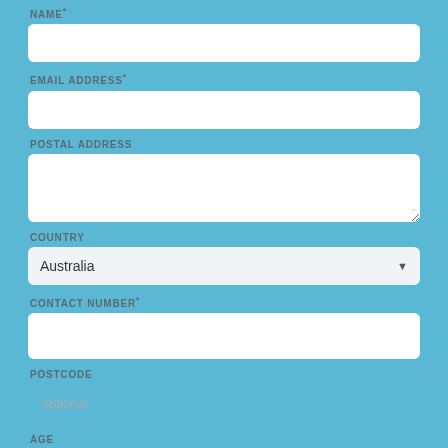NAME*
[Figure (other): Empty text input field for NAME]
EMAIL ADDRESS*
[Figure (other): Empty text input field for EMAIL ADDRESS]
POSTAL ADDRESS
[Figure (other): Empty textarea input field for POSTAL ADDRESS]
COUNTRY
[Figure (other): Dropdown select field showing Australia]
CONTACT NUMBER*
[Figure (other): Empty text input field for CONTACT NUMBER]
POSTCODE
[Figure (other): Text input field for POSTCODE with placeholder text 'optional']
AGE
[Figure (other): Partially visible text input field for AGE]